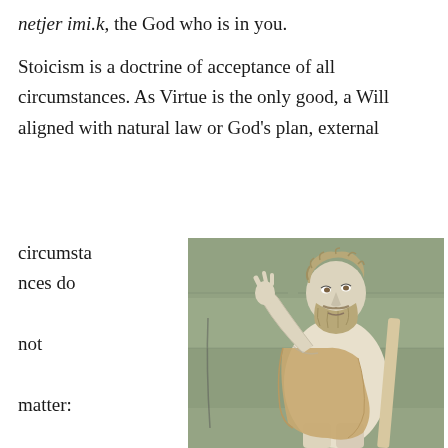netjer imi.k, the God who is in you.
Stoicism is a doctrine of acceptance of all circumstances. As Virtue is the only good, a Will aligned with natural law or God's plan, external circumstances do not matter: the virtuous man in prison is
[Figure (photo): A classical marble statue of a bearded man in Roman robes, raising one hand, set against a stone wall background. Likely Marcus Aurelius.]